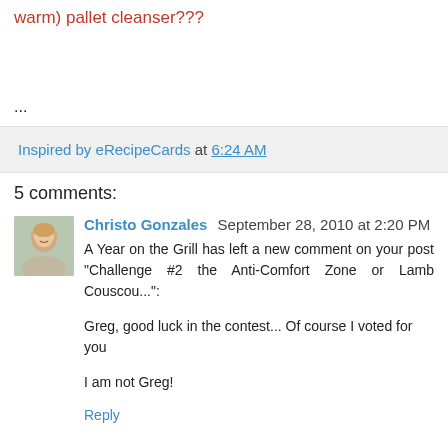warm) pallet cleanser???
...
Inspired by eRecipeCards at 6:24 AM
5 comments:
Christo Gonzales  September 28, 2010 at 2:20 PM
A Year on the Grill has left a new comment on your post "Challenge #2 the Anti-Comfort Zone or Lamb Couscou...": Greg, good luck in the contest... Of course I voted for you

I am not Greg!
Reply